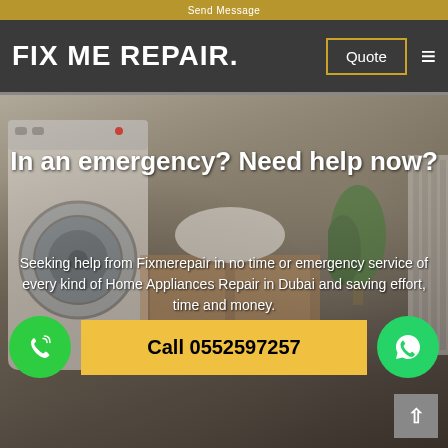Send Message
FIX ME REPAIR.
Quote
[Figure (screenshot): Background photo of a laundry/bathroom interior with washing machine, wooden cabinet, white basin, plant, and radiator, with dark overlay]
In an emergency? Need help now?
Seeking help from Fixmerepair in no time or emergency service of every kind of Home Appliances Repair in Dubai and saving effort, time and money.
Call 0552597257